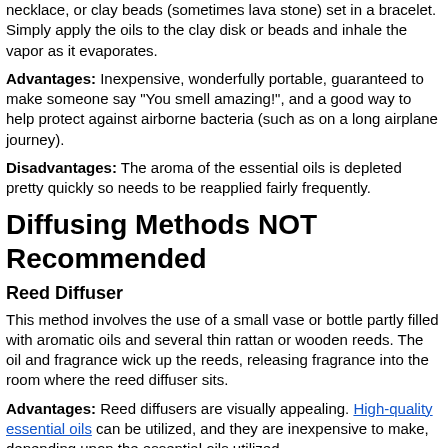necklace, or clay beads (sometimes lava stone) set in a bracelet. Simply apply the oils to the clay disk or beads and inhale the vapor as it evaporates.
Advantages: Inexpensive, wonderfully portable, guaranteed to make someone say "You smell amazing!", and a good way to help protect against airborne bacteria (such as on a long airplane journey).
Disadvantages: The aroma of the essential oils is depleted pretty quickly so needs to be reapplied fairly frequently.
Diffusing Methods NOT Recommended
Reed Diffuser
This method involves the use of a small vase or bottle partly filled with aromatic oils and several thin rattan or wooden reeds. The oil and fragrance wick up the reeds, releasing fragrance into the room where the reed diffuser sits.
Advantages: Reed diffusers are visually appealing. High-quality essential oils can be utilized, and they are inexpensive to make, depending upon the essential oils utilized.